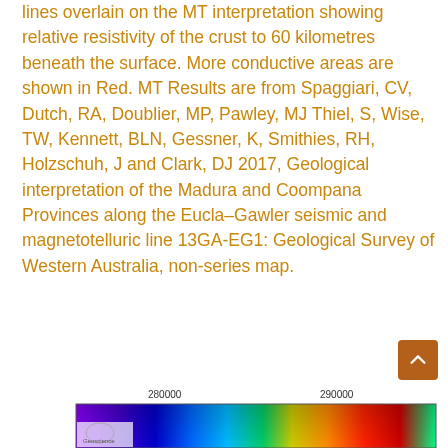lines overlain on the MT interpretation showing relative resistivity of the crust to 60 kilometres beneath the surface. More conductive areas are shown in Red. MT Results are from Spaggiari, CV, Dutch, RA, Doublier, MP, Pawley, MJ Thiel, S, Wise, TW, Kennett, BLN, Gessner, K, Smithies, RH, Holzschuh, J and Clark, DJ 2017, Geological interpretation of the Madura and Coompana Provinces along the Eucla–Gawler seismic and magnetotelluric line 13GA-EG1: Geological Survey of Western Australia, non-series map.
[Figure (map): Bottom portion of a geological/geophysical map showing coordinate labels 280000 and 290000 along the x-axis, with a colorful resistivity/magnetotelluric interpretation map below.]